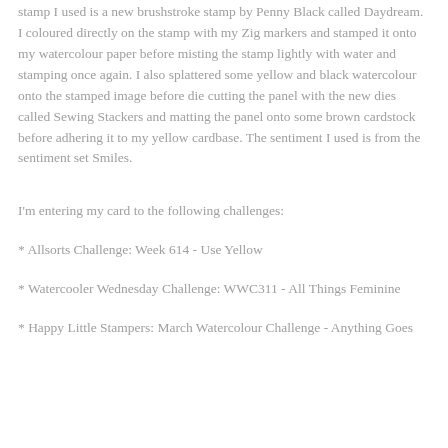stamp I used is a new brushstroke stamp by Penny Black called Daydream. I coloured directly on the stamp with my Zig markers and stamped it onto my watercolour paper before misting the stamp lightly with water and stamping once again. I also splattered some yellow and black watercolour onto the stamped image before die cutting the panel with the new dies called Sewing Stackers and matting the panel onto some brown cardstock before adhering it to my yellow cardbase. The sentiment I used is from the sentiment set Smiles.
I'm entering my card to the following challenges:
* Allsorts Challenge: Week 614 - Use Yellow
* Watercooler Wednesday Challenge: WWC311 - All Things Feminine
* Happy Little Stampers: March Watercolour Challenge - Anything Goes